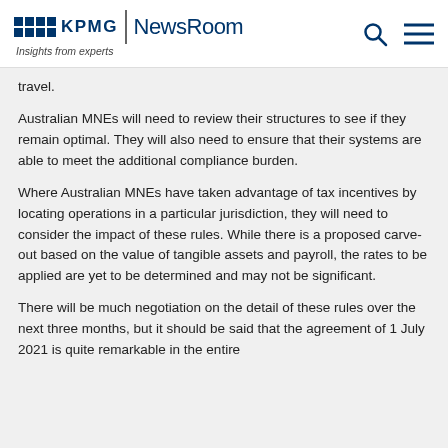KPMG | NewsRoom — Insights from experts
travel.
Australian MNEs will need to review their structures to see if they remain optimal. They will also need to ensure that their systems are able to meet the additional compliance burden.
Where Australian MNEs have taken advantage of tax incentives by locating operations in a particular jurisdiction, they will need to consider the impact of these rules. While there is a proposed carve-out based on the value of tangible assets and payroll, the rates to be applied are yet to be determined and may not be significant.
There will be much negotiation on the detail of these rules over the next three months, but it should be said that the agreement of 1 July 2021 is quite remarkable in the entire